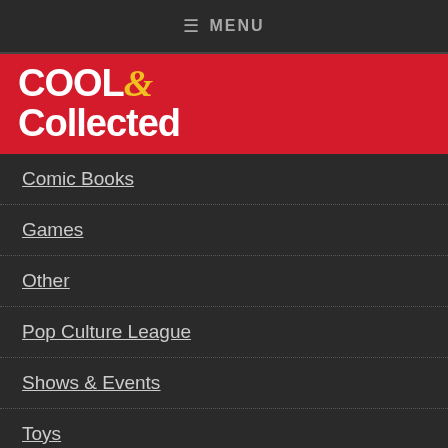≡ MENU
[Figure (logo): Cool & Collected logo — white bold text on red background with yellow ampersand]
Comic Books
Games
Other
Pop Culture League
Shows & Events
Toys
TV & Movies